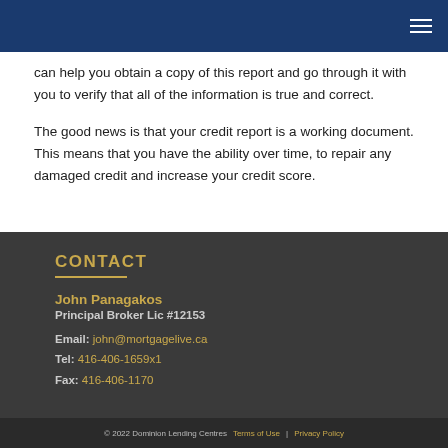can help you obtain a copy of this report and go through it with you to verify that all of the information is true and correct.
The good news is that your credit report is a working document. This means that you have the ability over time, to repair any damaged credit and increase your credit score.
CONTACT
John Panagakos
Principal Broker Lic #12153
Email: john@mortgagelive.ca
Tel: 416-406-1659x1
Fax: 416-406-1170
© 2022 Dominion Lending Centres   Terms of Use   |   Privacy Policy